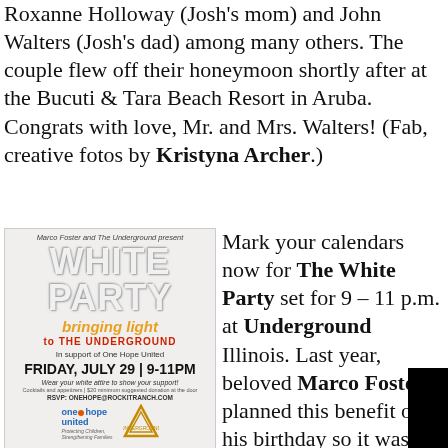Roxanne Holloway (Josh's mom) and John Walters (Josh's dad) among many others. The couple flew off their honeymoon shortly after at the Bucuti & Tara Beach Resort in Aruba. Congrats with love, Mr. and Mrs. Walters! (Fab, creative fotos by Kristyna Archer.)
[Figure (other): White Party flyer: Marco Foster and The Underground present WHITE PARTY bringing light to THE UNDERGROUND, In support of One Hope United, FRIDAY, JULY 29 | 9-11PM, Wear your white attire to show your support! Cocktails and appetizers | $20 minimum suggested donation at the door, RSVP: ONEHOPE@ROCKITRANCH.COM, logos for One Hope United and Underground]
Mark your calendars now for The White Party set for 9 – 11 p.m. at Underground Illinois. Last year, beloved Marco Foster planned this benefit on his birthday so it was a bash that helps abused children reunite with parents and since Marco, himself, this event is very near and dear to his heart. Marco said, "I know what it's like to get passed around from home to home and it's not